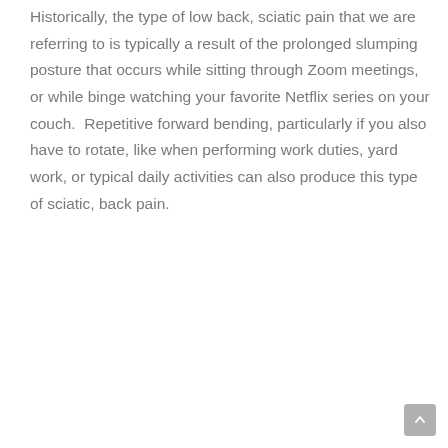Historically, the type of low back, sciatic pain that we are referring to is typically a result of the prolonged slumping posture that occurs while sitting through Zoom meetings, or while binge watching your favorite Netflix series on your couch.  Repetitive forward bending, particularly if you also have to rotate, like when performing work duties, yard work, or typical daily activities can also produce this type of sciatic, back pain.